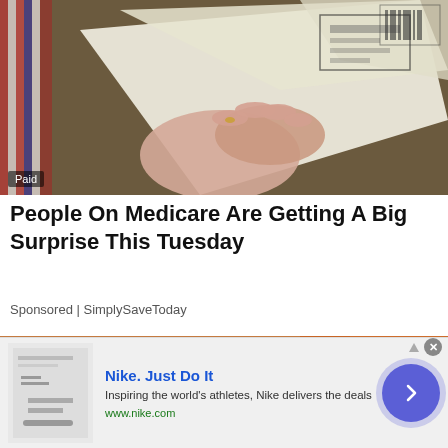[Figure (photo): A hand holding papers/documents, possibly mail or checks, on a table with colorful items in the background. 'Paid' label in lower left corner.]
People On Medicare Are Getting A Big Surprise This Tuesday
Sponsored | SimplySaveToday
[Figure (photo): A close-up of hands, possibly an elderly person, wearing an orange shirt.]
Nike. Just Do It
Inspiring the world's athletes, Nike delivers the deals
www.nike.com